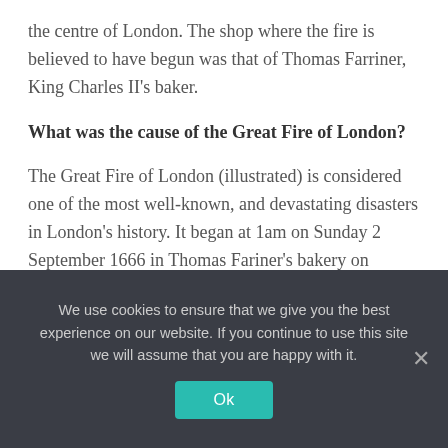the centre of London. The shop where the fire is believed to have begun was that of Thomas Farriner, King Charles II's baker.
What was the cause of the Great Fire of London?
The Great Fire of London (illustrated) is considered one of the most well-known, and devastating disasters in London's history. It began at 1am on Sunday 2 September 1666 in Thomas Fariner's bakery on Pudding Lane . It is believed to have been caused by a spark from his oven falling
We use cookies to ensure that we give you the best experience on our website. If you continue to use this site we will assume that you are happy with it.